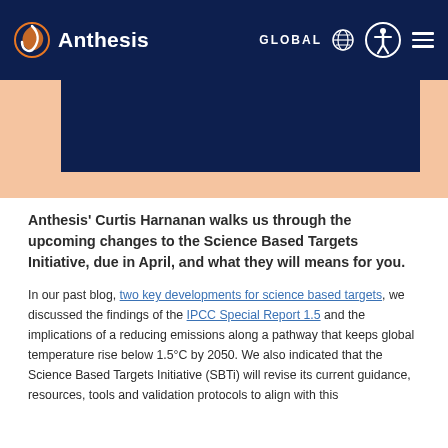Anthesis — GLOBAL
[Figure (other): Anthesis logo with orange swirl icon and white wordmark 'Anthesis' on dark navy background navigation bar]
[Figure (other): Hero image area with dark navy blue block and peach/salmon background rectangle behind it]
Anthesis' Curtis Harnanan walks us through the upcoming changes to the Science Based Targets Initiative, due in April, and what they will means for you.
In our past blog, two key developments for science based targets, we discussed the findings of the IPCC Special Report 1.5 and the implications of a reducing emissions along a pathway that keeps global temperature rise below 1.5°C by 2050. We also indicated that the Science Based Targets Initiative (SBTi) will revise its current guidance, resources, tools and validation protocols to align with this